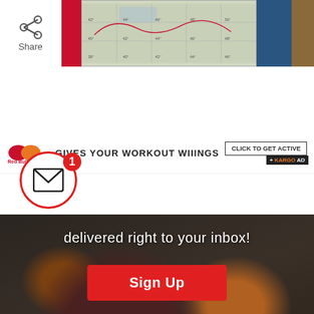[Figure (screenshot): Top strip showing share button on left, red block, map thumbnail grid, blue block and food thumbnail on right]
[Figure (screenshot): Red Bull advertisement banner: GIVES YOUR WORKOUT WIIINGS with CLICK TO GET ACTIVE button and KARGO AD badge]
[Figure (infographic): Email notification circle with envelope icon and badge showing '1']
[Figure (photo): Newsletter signup overlay on dark food photo showing bowl of food and roasted items. Text: 'delivered right to your inbox!' with red Sign Up button]
FREE
[Figure (photo): Bottom black banner with large white text FREE and partially visible text below]